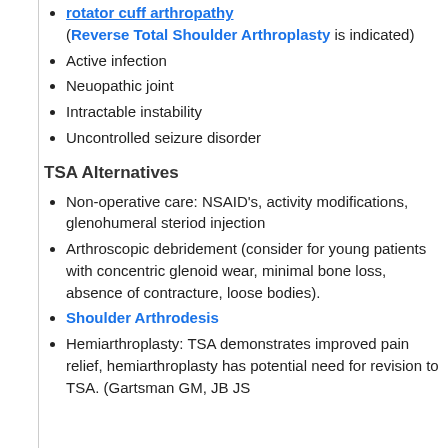rotator cuff arthropathy (Reverse Total Shoulder Arthroplasty is indicated)
Active infection
Neuopathic joint
Intractable instability
Uncontrolled seizure disorder
TSA Alternatives
Non-operative care: NSAID's, activity modifications, glenohumeral steriod injection
Arthroscopic debridement (consider for young patients with concentric glenoid wear, minimal bone loss, absence of contracture, loose bodies).
Shoulder Arthrodesis
Hemiarthroplasty: TSA demonstrates improved pain relief, hemiarthroplasty has potential need for revision to TSA. (Gartsman GM, JB JS